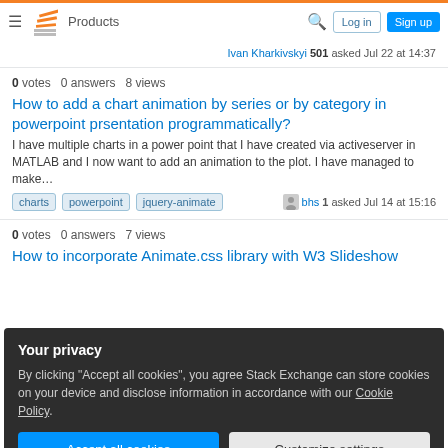Stack Overflow navigation bar with Products, Search, Log in, Sign up
Ivan Kharkivskyi 501 asked Jul 22 at 14:37
0 votes  0 answers  8 views
How to add a chart animation by series or by category in powerpoint prsentation programmatically?
I have multiple charts in a power point that I have created via activeserver in MATLAB and I now want to add an animation to the plot. I have managed to make…
charts
powerpoint
jquery-animate
bhs 1 asked Jul 14 at 15:16
0 votes  0 answers  7 views
How to incorporate Animate.css library with W3 Slideshow
Your privacy
By clicking "Accept all cookies", you agree Stack Exchange can store cookies on your device and disclose information in accordance with our Cookie Policy.
How do I make a custom multilayered background repeat